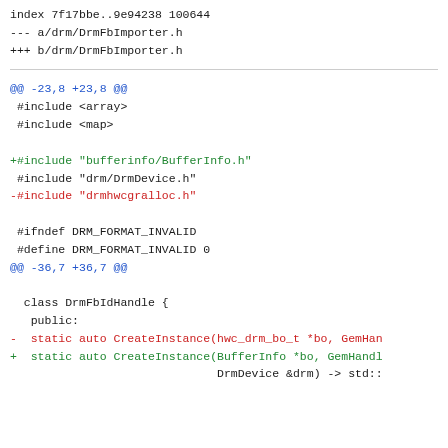index 7f17bbe..9e94238 100644
--- a/drm/DrmFbImporter.h
+++ b/drm/DrmFbImporter.h
@@ -23,8 +23,8 @@
 #include <array>
 #include <map>

+#include "bufferinfo/BufferInfo.h"
 #include "drm/DrmDevice.h"
-#include "drmhwcgralloc.h"

 #ifndef DRM_FORMAT_INVALID
 #define DRM_FORMAT_INVALID 0
@@ -36,7 +36,7 @@

  class DrmFbIdHandle {
   public:
-  static auto CreateInstance(hwc_drm_bo_t *bo, GemHan
+  static auto CreateInstance(BufferInfo *bo, GemHandl
                              DrmDevice &drm) -> std::